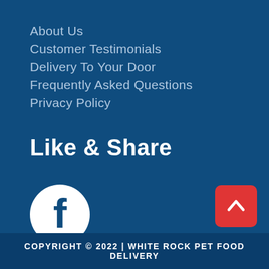About Us
Customer Testimonials
Delivery To Your Door
Frequently Asked Questions
Privacy Policy
Like & Share
[Figure (logo): Facebook logo icon: white circle with blue 'f' letter]
[Figure (other): Red rounded square button with white upward-pointing caret/arrow]
COPYRIGHT © 2022 | WHITE ROCK PET FOOD DELIVERY